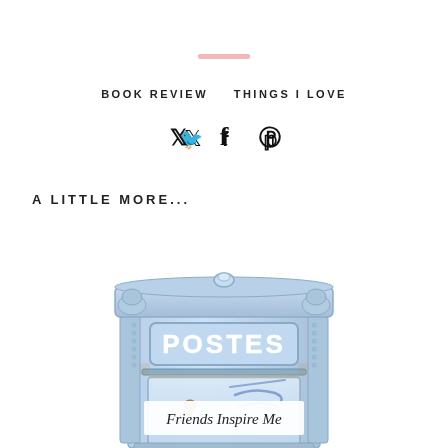BOOK REVIEW  THINGS I LOVE
♥ Twitter Facebook Pinterest (social icons)
A LITTLE MORE...
[Figure (illustration): Watercolor illustration of a blue French postal box labeled POSTES with ornate decorative top, keyhole, and handwritten letter visible behind a window panel]
Friends Inspire Me